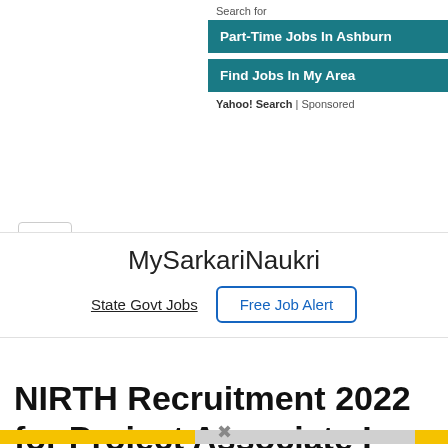Search for
Part-Time Jobs In Ashburn
Find Jobs In My Area
Yahoo! Search | Sponsored
MySarkariNaukri
State Govt Jobs  Free Job Alert
NIRTH Recruitment 2022 for Project Associate I